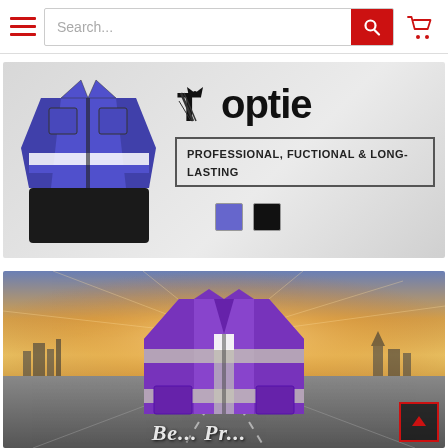[Figure (screenshot): E-commerce website header with hamburger menu (three red lines), search bar with placeholder text 'Search...', red search button with magnifier icon, and red shopping cart icon on white background]
[Figure (photo): Toptie brand banner showing a blue/purple multi-pocket work vest with white reflective stripe on light gray background. Brand name 'Toptie' in large bold font with a bow-tie logo. Tagline box reads 'PROFESSIONAL, FUCTIONAL & LONG-LASTING'. Two color swatches shown: blue/purple square and black square.]
[Figure (photo): Product photo of a purple safety reflective vest with horizontal and vertical reflective silver strips and front pockets, displayed against a dramatic sunset road background with city skyline. Partial text at bottom reads 'Be... Pr...' in large italic letters. Red-bordered scroll-to-top arrow button in bottom-right corner.]